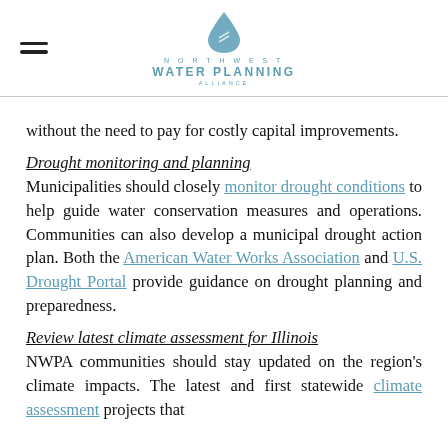Northwest Water Planning Alliance logo with hamburger menu
without the need to pay for costly capital improvements.
Drought monitoring and planning
Municipalities should closely monitor drought conditions to help guide water conservation measures and operations. Communities can also develop a municipal drought action plan. Both the American Water Works Association and U.S. Drought Portal provide guidance on drought planning and preparedness.
Review latest climate assessment for Illinois
NWPA communities should stay updated on the region's climate impacts. The latest and first statewide climate assessment projects that